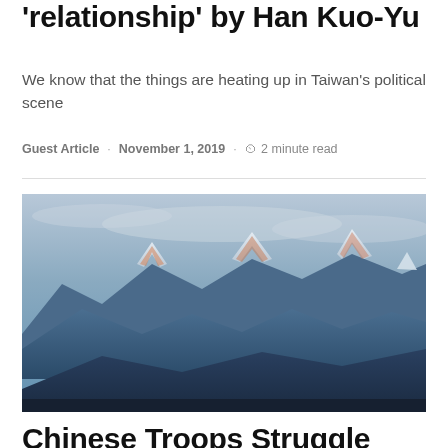'relationship' by Han Kuo-Yu
We know that the things are heating up in Taiwan's political scene
Guest Article · November 1, 2019 · 2 minute read
[Figure (photo): Snow-capped mountain range with pink-lit peaks against a blue-hued layered mountain backdrop at dusk or dawn]
Chinese Troops Struggle With Low Quality Winter